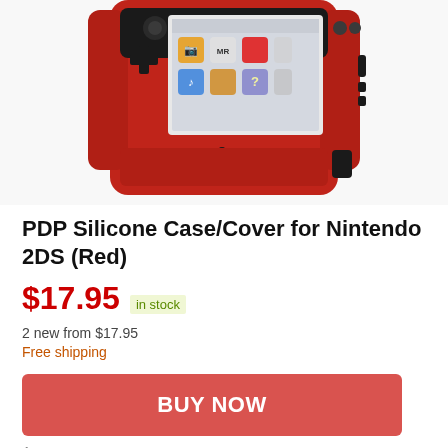[Figure (photo): Red PDP Silicone Case/Cover on a Nintendo 2DS gaming device, showing the console's screen with game icons visible]
PDP Silicone Case/Cover for Nintendo 2DS (Red)
$17.95 in stock
2 new from $17.95
Free shipping
BUY NOW
Amazon.com